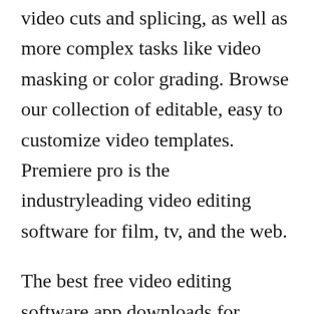video cuts and splicing, as well as more complex tasks like video masking or color grading. Browse our collection of editable, easy to customize video templates. Premiere pro is the industryleading video editing software for film, tv, and the web.
The best free video editing software app downloads for windows. You can add video filters, transitions, music, voice over to the video. Aplikasi edit video gratis terbaik di tahun ini itu apa saja. Semua aplikasi edit video pc yang ditampilkan disini sangat